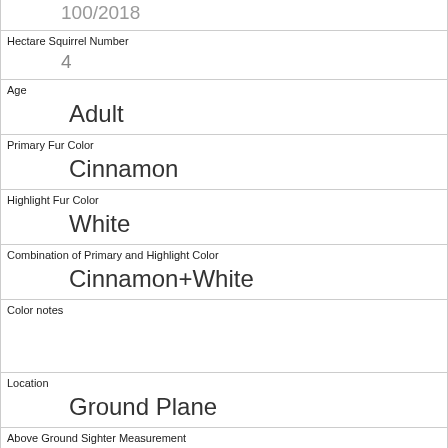| 100/2018 |  |
| Hectare Squirrel Number | 4 |
| Age | Adult |
| Primary Fur Color | Cinnamon |
| Highlight Fur Color | White |
| Combination of Primary and Highlight Color | Cinnamon+White |
| Color notes |  |
| Location | Ground Plane |
| Above Ground Sighter Measurement | FALSE |
| Specific Location |  |
| Running | 0 |